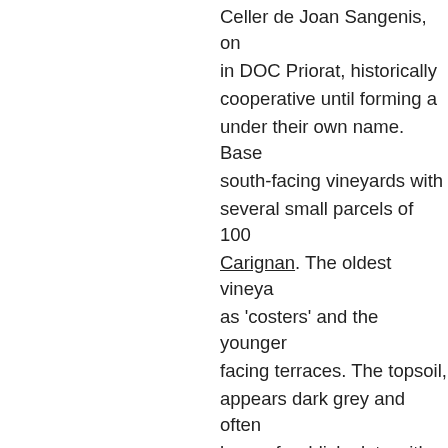Celler de Joan Sangenis, on in DOC Priorat, historically cooperative until forming a under their own name. Base south-facing vineyards with several small parcels of 100 Carignan. The oldest vineya as 'costers' and the younger facing terraces. The topsoil, appears dark grey and often base of reddish slate with pa as 'Llicorella', high in miner between 300-400m. For Joan Sangenis, the enor experience and research are continuous testing updates a that he spends 10 months in cellar, explaining that great great hands. Maintaining he ploughing ensures that they herbicides or pesticides. The